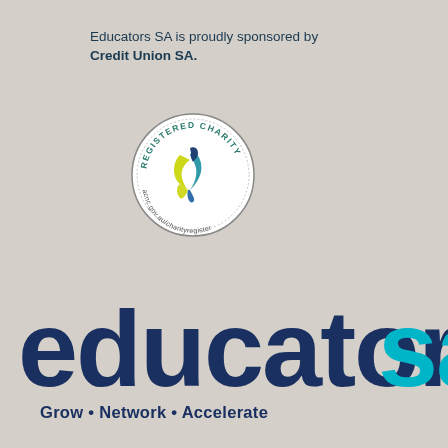Educators SA is proudly sponsored by Credit Union SA.
[Figure (logo): Registered Charity badge/seal with circular border text reading 'REGISTERED CHARITY' and 'acnc.gov.au/charityregister', featuring a stylized blue and green/yellow ribbon logo in the center]
[Figure (logo): Educators SA logo — large bold lowercase 'educators' in dark navy blue with a teal/turquoise stylized 'sa' at the right, partially cropped]
Grow • Network • Accelerate